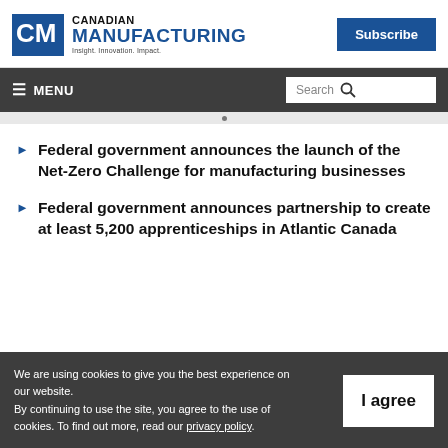Canadian Manufacturing — Insight. Innovation. Impact.
Federal government announces the launch of the Net-Zero Challenge for manufacturing businesses
Federal government announces partnership to create at least 5,200 apprenticeships in Atlantic Canada
We are using cookies to give you the best experience on our website. By continuing to use the site, you agree to the use of cookies. To find out more, read our privacy policy.